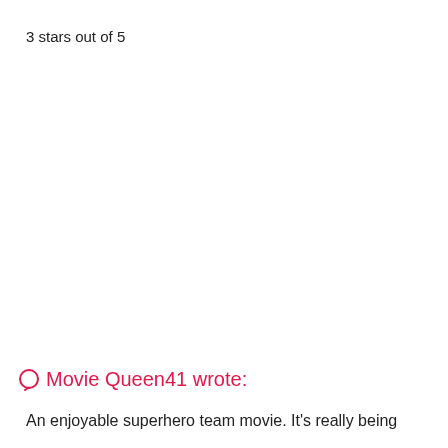3 stars out of 5
💬 Movie Queen41 wrote:
An enjoyable superhero team movie. It's really being